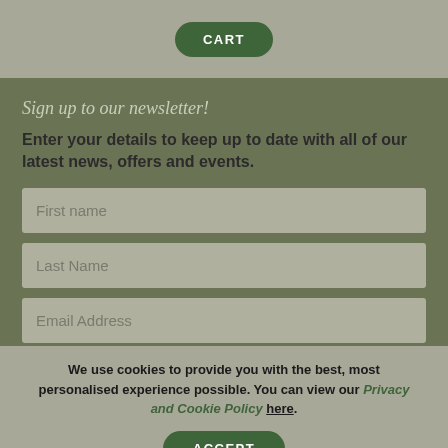CART
Sign up to our newsletter!
Enter your details to keep up to date with all of our latest news, offers and events.
First name
Last Name
Email Address
SUBSCRIBE
We use cookies to provide you with the best, most personalised experience possible. You can view our Privacy and Cookie Policy here.
ACCEPT